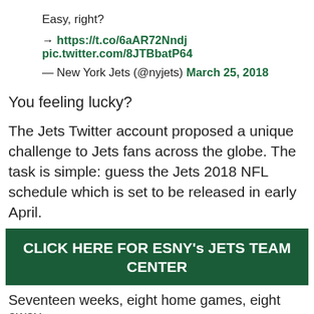Easy, right?
→ https://t.co/6aAR72Nndj pic.twitter.com/8JTBbatP64
— New York Jets (@nyjets) March 25, 2018
You feeling lucky?
The Jets Twitter account proposed a unique challenge to Jets fans across the globe. The task is simple: guess the Jets 2018 NFL schedule which is set to be released in early April.
CLICK HERE FOR ESNY's JETS TEAM CENTER
Seventeen weeks, eight home games, eight away